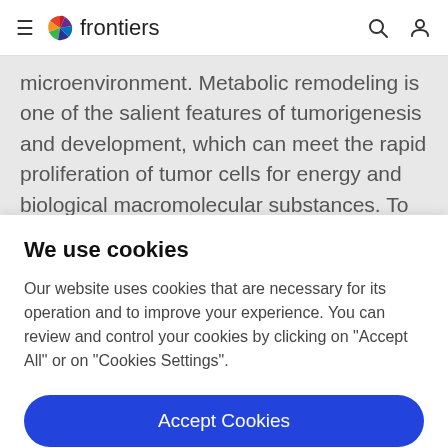frontiers
microenvironment. Metabolic remodeling is one of the salient features of tumorigenesis and development, which can meet the rapid proliferation of tumor cells for energy and biological macromolecular substances. To maintain
We use cookies
Our website uses cookies that are necessary for its operation and to improve your experience. You can review and control your cookies by clicking on "Accept All" or on "Cookies Settings".
Accept Cookies
Cookies Settings